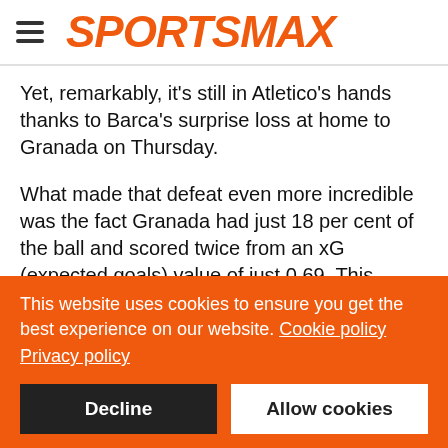SPORTSMAX
Yet, remarkably, it's still in Atletico's hands thanks to Barca's surprise loss at home to Granada on Thursday.
What made that defeat even more incredible was the fact Granada had just 18 per cent of the ball and scored twice from an xG (expected goals) value of just 0.69. This means they netted more than two times as many as they should have, which speaks to how stunningly clinical they were.
This website uses cookies to ensure you get the best experience on our website. Cookie policy
Privacy policy
Decline
Allow cookies